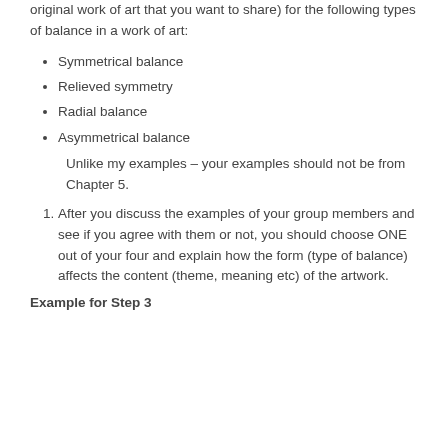original work of art that you want to share) for the following types of balance in a work of art:
Symmetrical balance
Relieved symmetry
Radial balance
Asymmetrical balance
Unlike my examples – your examples should not be from Chapter 5.
After you discuss the examples of your group members and see if you agree with them or not, you should choose ONE out of your four and explain how the form (type of balance) affects the content (theme, meaning etc) of the artwork.
Example for Step 3